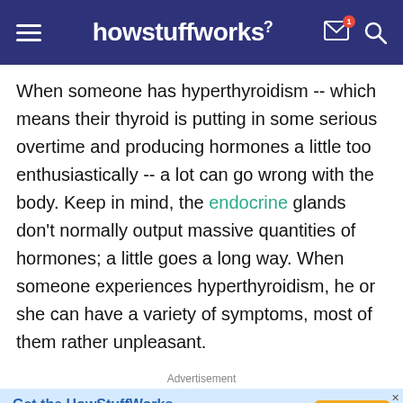howstuffworks
When someone has hyperthyroidism -- which means their thyroid is putting in some serious overtime and producing hormones a little too enthusiastically -- a lot can go wrong with the body. Keep in mind, the endocrine glands don't normally output massive quantities of hormones; a little goes a long way. When someone experiences hyperthyroidism, he or she can have a variety of symptoms, most of them rather unpleasant.
Advertisement
[Figure (screenshot): Advertisement banner: 'Get the HowStuffWorks Newsletter!' with a 'Sign Up' button in orange]